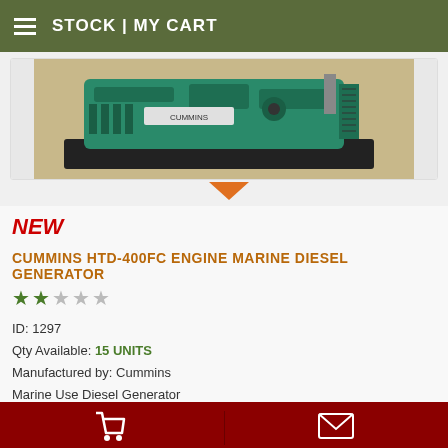STOCK | MY CART
[Figure (photo): Cummins HTD-400FC marine diesel generator, teal/green colored engine on a black pallet, photographed in a warehouse]
NEW  CUMMINS HTD-400FC ENGINE MARINE DIESEL GENERATOR
ID: 1297
Qty Available: 15 UNITS
Manufactured by: Cummins Marine Use Diesel Generator
The price: £P.O.A.
Cart | Menu